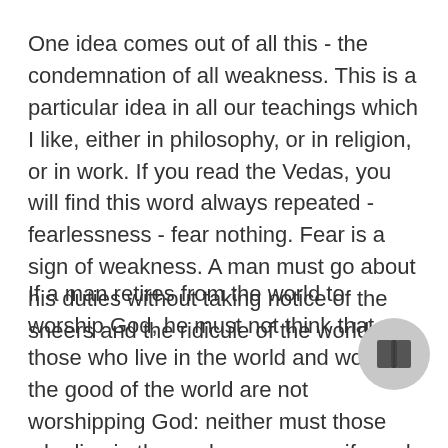One idea comes out of all this - the condemnation of all weakness. This is a particular idea in all our teachings which I like, either in philosophy, or in religion, or in work. If you read the Vedas, you will find this word always repeated - fearlessness - fear nothing. Fear is a sign of weakness. A man must go about his duties without taking notice of the sneers and the ridicule of the world.
If a man retires from the world to worship God, he must not think that those who live in the world and work for the good of the world are not worshipping God: neither must those who live in the world wife and children, think that those who give up the world are low vagabonds. Each is great in his own